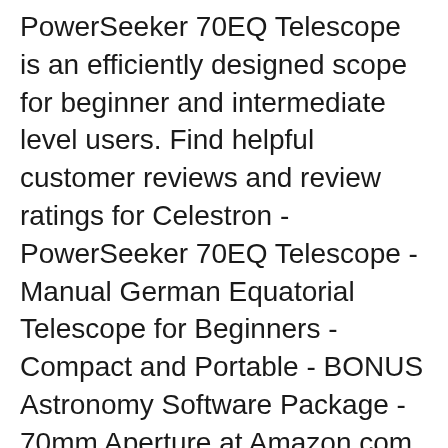PowerSeeker 70EQ Telescope is an efficiently designed scope for beginner and intermediate level users. Find helpful customer reviews and review ratings for Celestron - PowerSeeker 70EQ Telescope - Manual German Equatorial Telescope for Beginners - Compact and Portable - BONUS Astronomy Software Package - 70mm Aperture at Amazon.com. Read honest and unbiased product reviews from our users.
Telescope 70EQ: Show reviews Show product information from the vendor . Telescope 70EQ vs Celestron PowerSeeker 70AZ. vs. Compare 2 telescopes. This website displays data...